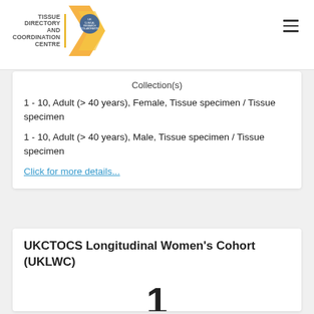TISSUE DIRECTORY AND COORDINATION CENTRE
Collection(s)
1 - 10, Adult (> 40 years), Female, Tissue specimen / Tissue specimen
1 - 10, Adult (> 40 years), Male, Tissue specimen / Tissue specimen
Click for more details...
UKCTOCS Longitudinal Women's Cohort (UKLWC)
Add to Contact List
1